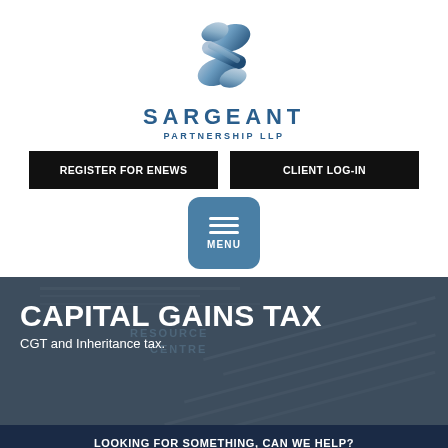[Figure (logo): Sargeant Partnership LLP logo — stylized blue S-shape with gradient, above company name]
SARGEANT
PARTNERSHIP LLP
REGISTER FOR ENEWS
CLIENT LOG-IN
[Figure (other): Blue rounded square menu button with three horizontal lines and MENU label]
CAPITAL GAINS TAX
CGT and Inheritance tax.
LOOKING FOR SOMETHING, CAN WE HELP?